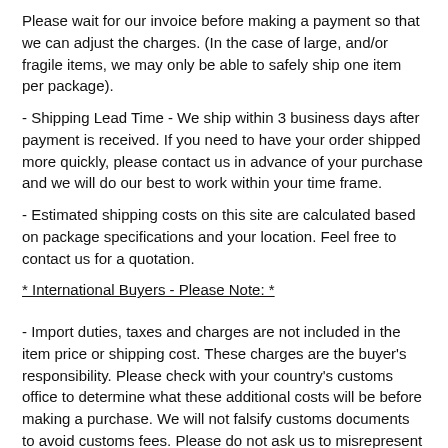Please wait for our invoice before making a payment so that we can adjust the charges. (In the case of large, and/or fragile items, we may only be able to safely ship one item per package).
- Shipping Lead Time - We ship within 3 business days after payment is received. If you need to have your order shipped more quickly, please contact us in advance of your purchase and we will do our best to work within your time frame.
- Estimated shipping costs on this site are calculated based on package specifications and your location. Feel free to contact us for a quotation.
* International Buyers - Please Note: *
- Import duties, taxes and charges are not included in the item price or shipping cost. These charges are the buyer's responsibility. Please check with your country's customs office to determine what these additional costs will be before making a purchase. We will not falsify customs documents to avoid customs fees. Please do not ask us to misrepresent the value of an item or declare it a gift.